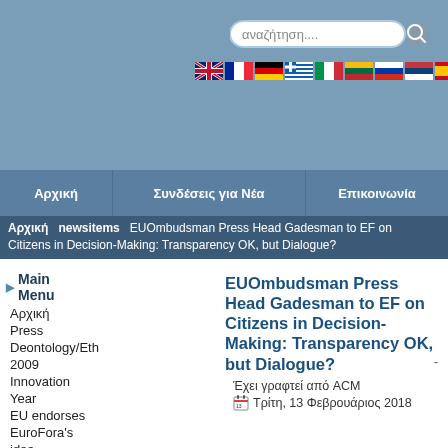[Figure (screenshot): Search bar with Greek text 'αναζήτηση...' and magnifier icon]
[Figure (infographic): Row of country flags: UK/US, France, Germany, Greece, Italy, Lithuania, Russia, Serbia, Spain]
Αρχική | Συνδέσεις για Νέα | Επικοινωνία
Αρχική newsitems EUOmbudsman Press Head Gadesman to EF on Citizens in Decision-Making: Transparency OK, but Dialogue?
Main Menu
Αρχική
Press Deontology/Eth
2009
Innovation Year
EU endorses EuroFora's idea
Multi-Lingual FORUM
Subscribers/Do
Συχνές ερωτήσεις
EUOmbudsman Press Head Gadesman to EF on Citizens in Decision-Making: Transparency OK, but Dialogue?
Έχει γραφτεί από ACM
Τρίτη, 13 Φεβρουάριος 2018